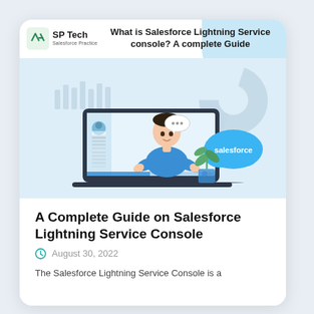SP Tech Salesforce Practice | What is Salesforce Lightning Service console? A complete Guide
[Figure (illustration): Illustration of a man in a blue shirt on a laptop screen, with a Salesforce cloud logo, chat bubble, analytics charts, and a plant in the background]
A Complete Guide on Salesforce Lightning Service Console
August 30, 2022
The Salesforce Lightning Service Console is a